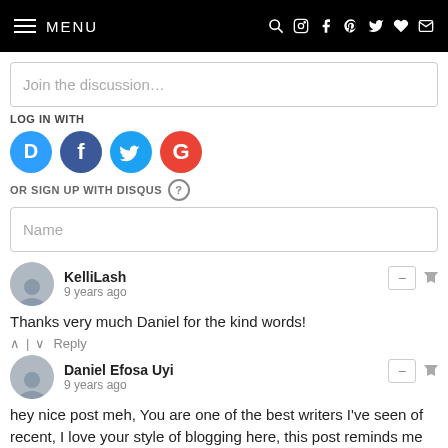MENU
Join the discussion…
LOG IN WITH
[Figure (illustration): Social login icons: Disqus (D), Facebook (f), Twitter bird, Google (G)]
OR SIGN UP WITH DISQUS ?
Name
KelliLash
9 years ago
Thanks very much Daniel for the kind words!
Daniel Efosa Uyi
9 years ago
hey nice post meh, You are one of the best writers I've seen of recent, I love your style of blogging here, this post reminds me